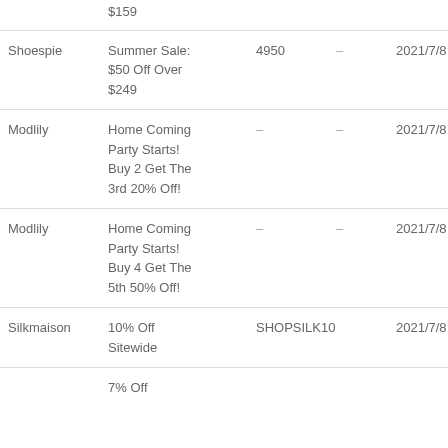|  | Coupon/Deal | Code |  | Start Date | End Date |
| --- | --- | --- | --- | --- | --- |
|  | $159 |  |  |  |  |
| Shoespie | Summer Sale:
$50 Off Over
$249 | 4950 | – | 2021/7/8 | 20 |
| Modlily | Home Coming
Party Starts!
Buy 2 Get The
3rd 20% Off! | – | – | 2021/7/8 | 20 |
| Modlily | Home Coming
Party Starts!
Buy 4 Get The
5th 50% Off! | – | – | 2021/7/8 | 20 |
| Silkmaison | 10% Off
Sitewide | SHOPSILK10 |  | 2021/7/8 | 20 |
|  | 7% Off |  |  |  |  |